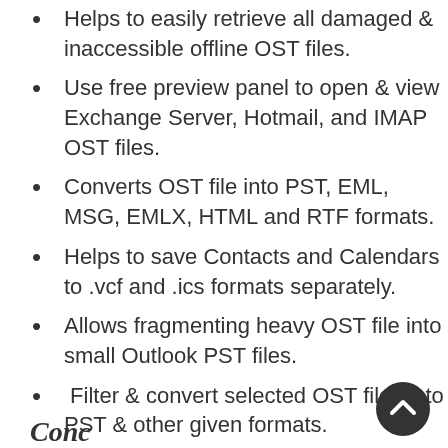Helps to easily retrieve all damaged & inaccessible offline OST files.
Use free preview panel to open & view Exchange Server, Hotmail, and IMAP OST files.
Converts OST file into PST, EML, MSG, EMLX, HTML and RTF formats.
Helps to save Contacts and Calendars to .vcf and .ics formats separately.
Allows fragmenting heavy OST file into small Outlook PST files.
Filter & convert selected OST files into PST & other given formats.
Conc